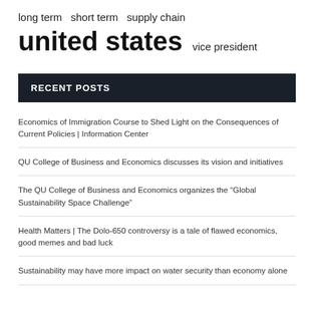long term  short term  supply chain
united states  vice president
RECENT POSTS
Economics of Immigration Course to Shed Light on the Consequences of Current Policies | Information Center
QU College of Business and Economics discusses its vision and initiatives
The QU College of Business and Economics organizes the “Global Sustainability Space Challenge”
Health Matters | The Dolo-650 controversy is a tale of flawed economics, good memes and bad luck
Sustainability may have more impact on water security than economy alone